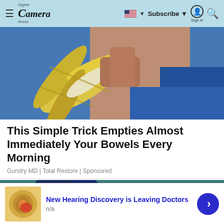Digital Camera World — Subscribe | Sign in
[Figure (photo): Close-up photo of a person in a blue top peeling a banana]
This Simple Trick Empties Almost Immediately Your Bowels Every Morning
Gundry MD | Total Restore | Sponsored
[Figure (photo): Illustration of a woman's head with red pain areas highlighted and letters S B L E K P 4 W K floating around her]
New Hearing Discovery is Leaving Doctors
n/a